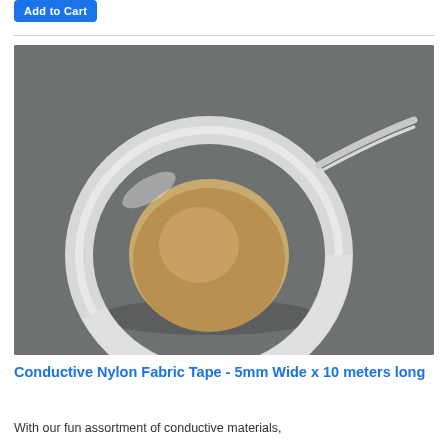[Figure (other): Add to Cart button (blue rounded rectangle with white text)]
[Figure (photo): A roll of white conductive nylon fabric tape wound on a cardboard core, with a thin flat strip trailing out to the right, photographed on a dark gray background.]
Conductive Nylon Fabric Tape - 5mm Wide x 10 meters long
With our fun assortment of conductive materials,